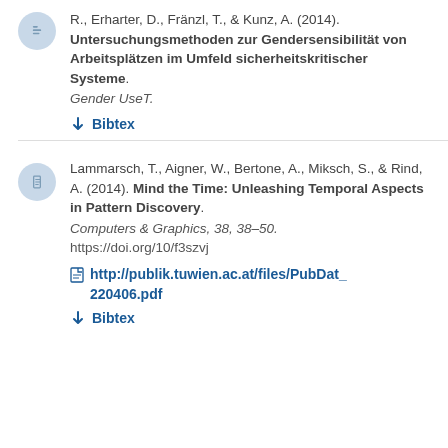R., Erharter, D., Fränzl, T., & Kunz, A. (2014). Untersuchungsmethoden zur Gendersensibilität von Arbeitsplätzen im Umfeld sicherheitskritischer Systeme. Gender UseT.
↓ Bibtex
Lammarsch, T., Aigner, W., Bertone, A., Miksch, S., & Rind, A. (2014). Mind the Time: Unleashing Temporal Aspects in Pattern Discovery. Computers & Graphics, 38, 38–50. https://doi.org/10/f3szvj
http://publik.tuwien.ac.at/files/PubDat_220406.pdf
↓ Bibtex